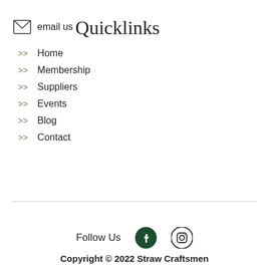email us
Quicklinks
Home
Membership
Suppliers
Events
Blog
Contact
Follow Us
Copyright © 2022 Straw Craftsmen